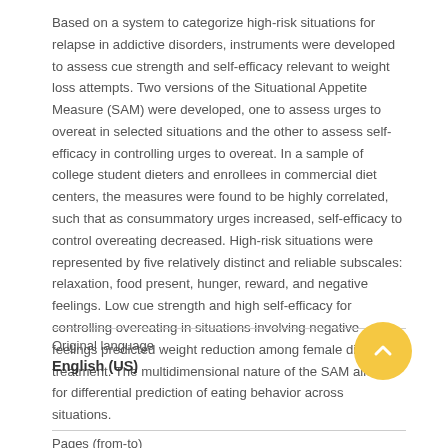Based on a system to categorize high-risk situations for relapse in addictive disorders, instruments were developed to assess cue strength and self-efficacy relevant to weight loss attempts. Two versions of the Situational Appetite Measure (SAM) were developed, one to assess urges to overeat in selected situations and the other to assess self-efficacy in controlling urges to overeat. In a sample of college student dieters and enrollees in commercial diet centers, the measures were found to be highly correlated, such that as consummatory urges increased, self-efficacy to control overeating decreased. High-risk situations were represented by five relatively distinct and reliable subscales: relaxation, food present, hunger, reward, and negative feelings. Low cue strength and high self-efficacy for controlling overeating in situations involving negative feelings predicted weight reduction among female dieters in treatment. The multidimensional nature of the SAM allows for differential prediction of eating behavior across situations.
Original language
English (US)
Pages (from-to)